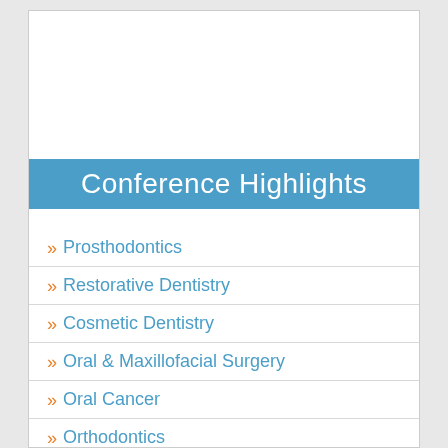Conference Highlights
Prosthodontics
Restorative Dentistry
Cosmetic Dentistry
Oral & Maxillofacial Surgery
Oral Cancer
Orthodontics
Dental Nursing
Dental Hygiene
Dental Marketing